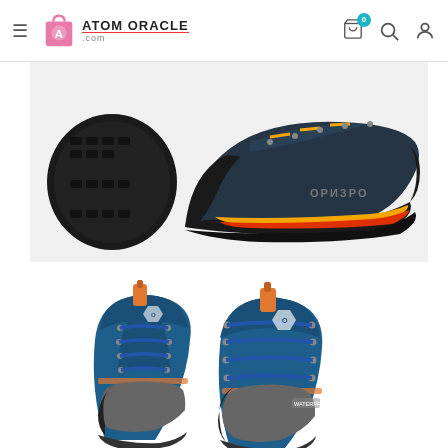Atom Oracle .com — navigation header with logo, cart, search, and profile icons
[Figure (photo): Black OРИЗRO brand hiking shoes/trail runners shown from side and sole angle, with orange/yellow accent stripe along the midsole and orange laces, on white background]
[Figure (photo): Blue and grey OРИЗRO brand high-top hiking boots with orange accents and laces, shown from three-quarter front angle on white background]